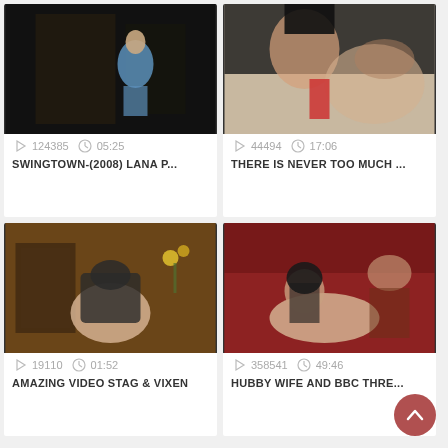[Figure (screenshot): Video thumbnail: woman in blue dress in dark room]
124385  05:25
SWINGTOWN-(2008) LANA P...
[Figure (screenshot): Video thumbnail: adult content close-up]
44494  17:06
THERE IS NEVER TOO MUCH ...
[Figure (screenshot): Video thumbnail: adult content rear view]
19110  01:52
AMAZING VIDEO STAG & VIXEN
[Figure (screenshot): Video thumbnail: adult content]
358541  49:46
HUBBY WIFE AND BBC THRE...